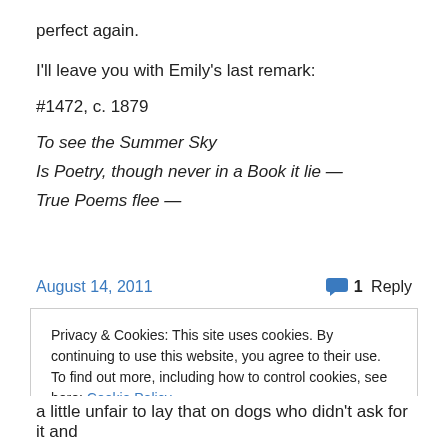perfect again.
I'll leave you with Emily's last remark:
#1472, c. 1879
To see the Summer Sky
Is Poetry, though never in a Book it lie —
True Poems flee —
August 14, 2011
1 Reply
Privacy & Cookies: This site uses cookies. By continuing to use this website, you agree to their use.
To find out more, including how to control cookies, see here: Cookie Policy
Close and accept
a little unfair to lay that on dogs who didn't ask for it and